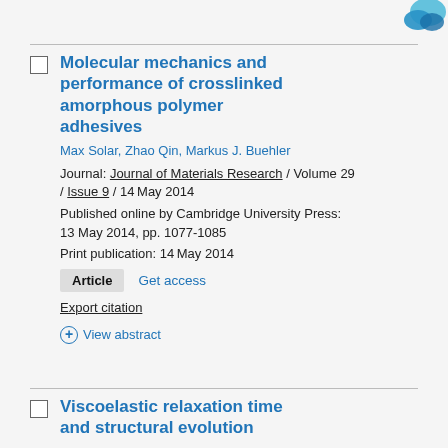[Figure (logo): Cambridge University Press logo (blue swoosh/symbol) in top right corner]
Molecular mechanics and performance of crosslinked amorphous polymer adhesives
Max Solar, Zhao Qin, Markus J. Buehler
Journal: Journal of Materials Research / Volume 29 / Issue 9 / 14 May 2014
Published online by Cambridge University Press: 13 May 2014, pp. 1077-1085
Print publication: 14 May 2014
Article   Get access
Export citation
View abstract
Viscoelastic relaxation time and structural evolution